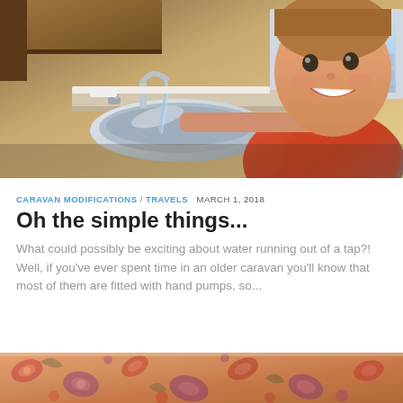[Figure (photo): A smiling boy leaning over a stainless steel sink with water running from the tap, inside a caravan. Wooden cabinets visible above, window with daylight behind. Boy wearing orange and grey shirt.]
CARAVAN MODIFICATIONS / TRAVELS  MARCH 1, 2018
Oh the simple things...
What could possibly be exciting about water running out of a tap?! Well, if you've ever spent time in an older caravan you'll know that most of them are fitted with hand pumps, so...
[Figure (photo): Partial image at bottom of page showing a colorful patterned fabric or cushion with floral/paisley design in warm tones.]